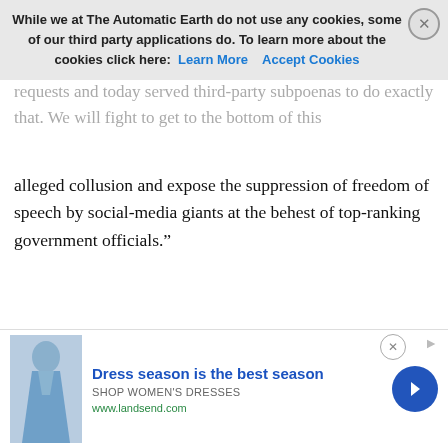While we at The Automatic Earth do not use any cookies, some of our third party applications do. To learn more about the cookies click here: Learn More  Accept Cookies
alleged collusion and expose the suppression of freedom of speech by social-media giants at the behest of top-ranking government officials.”
Read more …
at least 38,000 severe cases
• 1 in 5,000 COVID Shots Caused ‘Serious Side Effects’ (CHD)
The German Federal Ministry of Health (BMG) on Wednesday posted a “stunning tweet” admitting 1 of every 5,000 COVID-19 vaccinations cause “serious side effects.”Although likely an
[Figure (photo): Advertisement: woman in blue dress. Text: 'Dress season is the best season', 'SHOP WOMEN'S DRESSES', 'www.landsend.com']